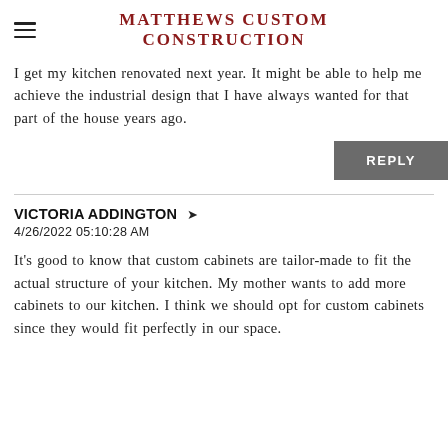MATTHEWS CUSTOM CONSTRUCTION
I get my kitchen renovated next year. It might be able to help me achieve the industrial design that I have always wanted for that part of the house years ago.
REPLY
VICTORIA ADDINGTON
4/26/2022 05:10:28 AM
It's good to know that custom cabinets are tailor-made to fit the actual structure of your kitchen. My mother wants to add more cabinets to our kitchen. I think we should opt for custom cabinets since they would fit perfectly in our space.